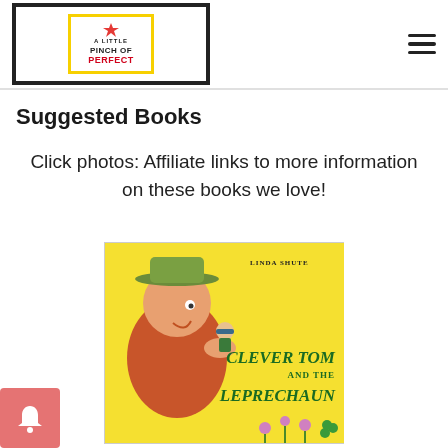A Little Pinch of Perfect - logo and navigation
Suggested Books
Click photos: Affiliate links to more information on these books we love!
[Figure (photo): Book cover of 'Clever Tom and the Leprechaun' by Linda Shute. Yellow background with illustration of a large man holding a tiny leprechaun.]
[Figure (other): Red notification bell button in bottom-left corner]